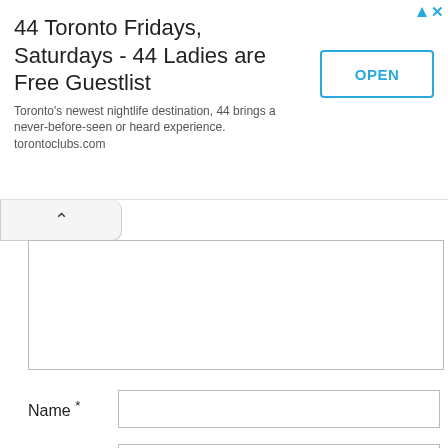[Figure (screenshot): Advertisement banner for '44 Toronto Fridays, Saturdays - 44 Ladies are Free Guestlist' with an OPEN button and ad icons in top-right corner.]
44 Toronto Fridays, Saturdays - 44 Ladies are Free Guestlist
Toronto's newest nightlife destination, 44 brings a never-before-seen or heard experience. torontoclubs.com
Name *
Email *
Website